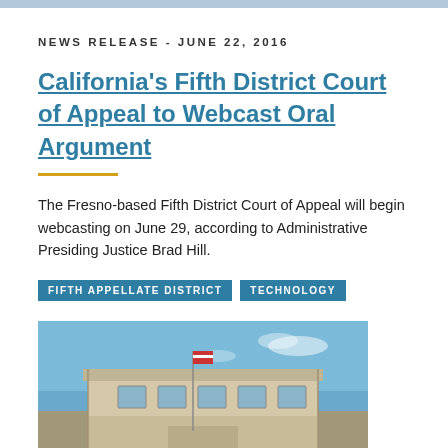NEWS RELEASE - JUNE 22, 2016
California's Fifth District Court of Appeal to Webcast Oral Argument
The Fresno-based Fifth District Court of Appeal will begin webcasting on June 29, according to Administrative Presiding Justice Brad Hill.
FIFTH APPELLATE DISTRICT   TECHNOLOGY
[Figure (photo): Exterior photo of the Fifth District Court of Appeal building in Fresno, California, showing a modern beige/tan building facade with windows and an American flag, photographed against a blue sky.]